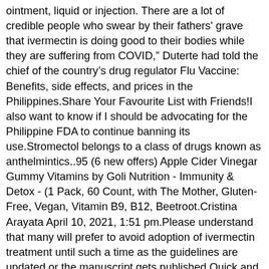ointment, liquid or injection. There are a lot of credible people who swear by their fathers' grave that ivermectin is doing good to their bodies while they are suffering from COVID," Duterte had told the chief of the country's drug regulator Flu Vaccine: Benefits, side effects, and prices in the Philippines.Share Your Favourite List with Friends!I also want to know if I should be advocating for the Philippine FDA to continue banning its use.Stromectol belongs to a class of drugs known as anthelmintics..95 (6 new offers) Apple Cider Vinegar Gummy Vitamins by Goli Nutrition - Immunity & Detox - (1 Pack, 60 Count, with The Mother, Gluten-Free, Vegan, Vitamin B9, B12, Beetroot.Cristina Arayata April 10, 2021, 1:51 pm.Please understand that many will prefer to avoid adoption of ivermectin treatment until such a time as the guidelines are updated or the manuscript gets published.Quick and safe delivery are guaranteed.The World Health Organization recommend not to use ivermectin in patients with COVID-19, except in the context of a clinical trial Image/Philippines FDA where to buy , dosage frequency ,etc – my wife and I are 78 and 74 years of age – side effects , etc.MANILA, Philippines — The Department of Health (DOH) on Thursday said names of doctors prescribing the use of Ivermectin as a treatment for COVID-19 infection despite warning from government health.Product Details Page IVERMECTIN IVERMECTIN TABLET 12MG ₱21.Ivermectin (MK-933) is a where to buy ivermectin in the philippines specific inhibitor of Impα/β1-mediated nuclear import and has potent antiviral activity towards both HIV-1 and dengue virus.Buy high-quality Ivermectin